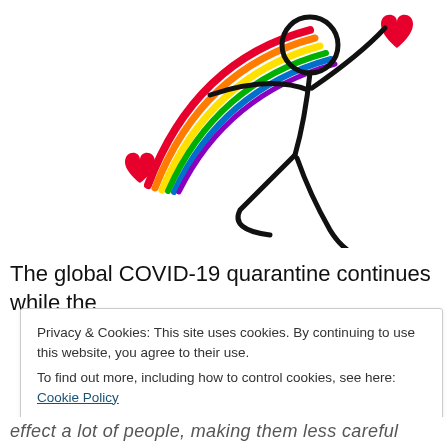[Figure (illustration): A stick figure person jumping/dancing with a rainbow arching from a red heart on the left, and a red heart shape floating to the upper right. The figure is drawn in black outline style on white background.]
The global COVID-19 quarantine continues while the
Privacy & Cookies: This site uses cookies. By continuing to use this website, you agree to their use.
To find out more, including how to control cookies, see here: Cookie Policy
Close and accept
effect a lot of people, making them less careful